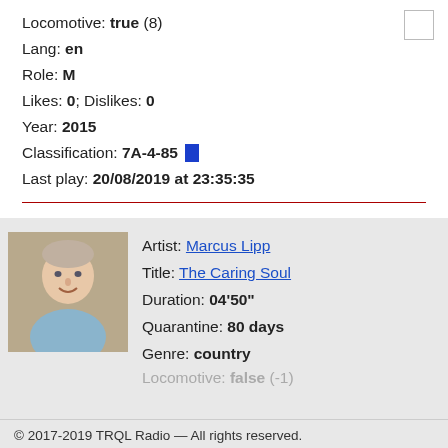Locomotive: true (8)
Lang: en
Role: M
Likes: 0; Dislikes: 0
Year: 2015
Classification: 7A-4-85
Last play: 20/08/2019 at 23:35:35
Artist: Marcus Lipp
Title: The Caring Soul
Duration: 04'50"
Quarantine: 80 days
Genre: country
Locomotive: false (-1)
© 2017-2019 TRQL Radio — All rights reserved.